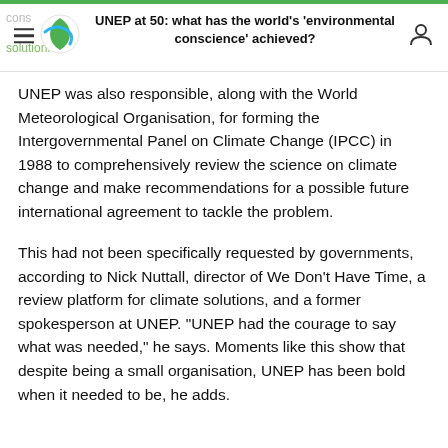UNEP at 50: what has the world's 'environmental conscience' achieved?
UNEP was also responsible, along with the World Meteorological Organisation, for forming the Intergovernmental Panel on Climate Change (IPCC) in 1988 to comprehensively review the science on climate change and make recommendations for a possible future international agreement to tackle the problem.
This had not been specifically requested by governments, according to Nick Nuttall, director of We Don't Have Time, a review platform for climate solutions, and a former spokesperson at UNEP. "UNEP had the courage to say what was needed," he says. Moments like this show that despite being a small organisation, UNEP has been bold when it needed to be, he adds.